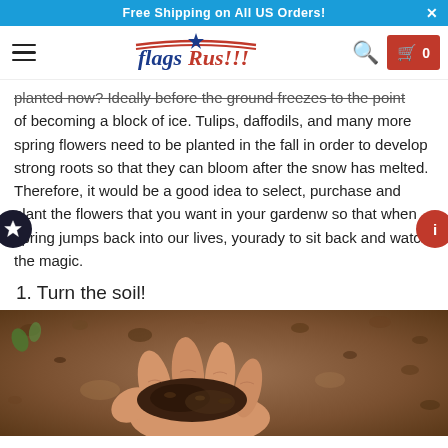Free Shipping on All US Orders!
FlagsRus!!!
planted now? Ideally before the ground freezes to the point of becoming a block of ice. Tulips, daffodils, and many more spring flowers need to be planted in the fall in order to develop strong roots so that they can bloom after the snow has melted. Therefore, it would be a good idea to select, purchase and plant the flowers that you want in your garden now so that when spring jumps back into our lives, your ready to sit back and watch the magic.
1. Turn the soil!
[Figure (photo): Close-up photo of a hand holding dark soil, with garden ground/mulch in the background]